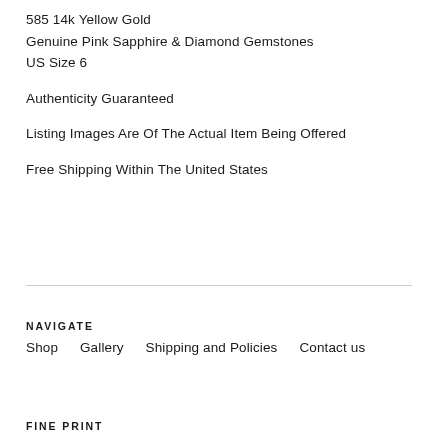585 14k Yellow Gold
Genuine Pink Sapphire & Diamond Gemstones
US Size 6
Authenticity Guaranteed
Listing Images Are Of The Actual Item Being Offered
Free Shipping Within The United States
NAVIGATE
Shop    Gallery    Shipping and Policies    Contact us
FINE PRINT